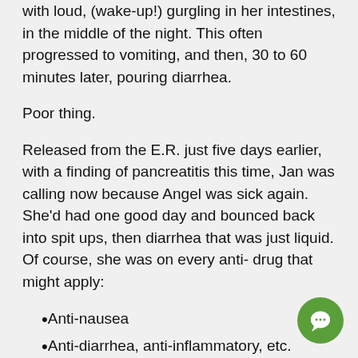with loud, (wake-up!) gurgling in her intestines, in the middle of the night. This often progressed to vomiting, and then, 30 to 60 minutes later, pouring diarrhea.
Poor thing.
Released from the E.R. just five days earlier, with a finding of pancreatitis this time, Jan was calling now because Angel was sick again. She'd had one good day and bounced back into spit ups, then diarrhea that was just liquid. Of course, she was on every anti- drug that might apply:
Anti-nausea
Anti-diarrhea, anti-inflammatory, etc.
And, Dr. WhiteCoat's favorite: Antibiotics